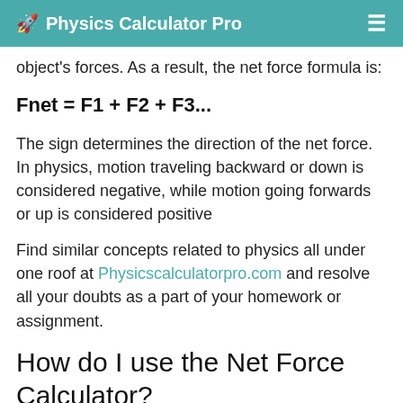Physics Calculator Pro
object's forces. As a result, the net force formula is:
The sign determines the direction of the net force. In physics, motion traveling backward or down is considered negative, while motion going forwards or up is considered positive
Find similar concepts related to physics all under one roof at Physicscalculatorpro.com and resolve all your doubts as a part of your homework or assignment.
How do I use the Net Force Calculator?